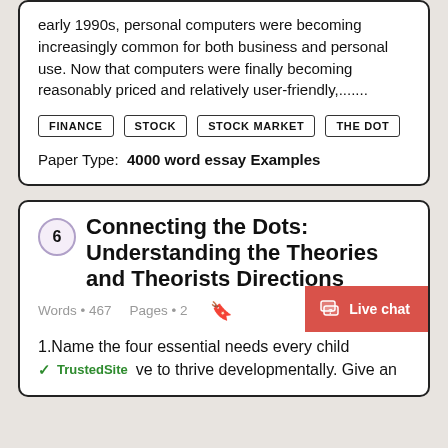early 1990s, personal computers were becoming increasingly common for both business and personal use. Now that computers were finally becoming reasonably priced and relatively user-friendly,.......
FINANCE
STOCK
STOCK MARKET
THE DOT
Paper Type: 4000 word essay Examples
6 Connecting the Dots: Understanding the Theories and Theorists Directions
Words • 467    Pages • 2
1.Name the four essential needs every child would have to thrive developmentally. Give an